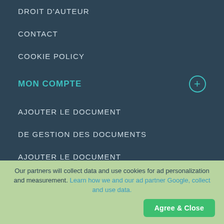DROIT D'AUTEUR
CONTACT
COOKIE POLICY
MON COMPTE
AJOUTER LE DOCUMENT
DE GESTION DES DOCUMENTS
AJOUTER LE DOCUMENT
SIGNE
BULLETIN
Our partners will collect data and use cookies for ad personalization and measurement. Learn how we and our ad partner Google, collect and use data.